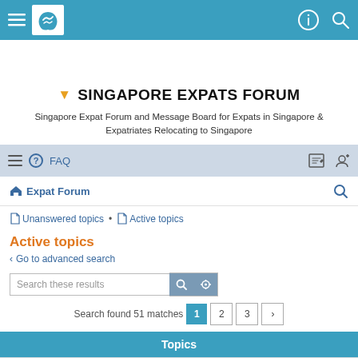Singapore Expats Forum - top navigation bar
▼ SINGAPORE EXPATS FORUM
Singapore Expat Forum and Message Board for Expats in Singapore & Expatriates Relocating to Singapore
FAQ
Expat Forum
Unanswered topics
Active topics
Active topics
Go to advanced search
Search these results
Search found 51 matches  1  2  3  >
Topics